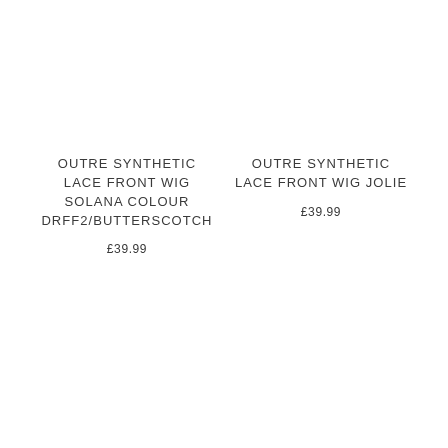OUTRE SYNTHETIC LACE FRONT WIG SOLANA COLOUR DRFF2/BUTTERSCOTCH
£39.99
OUTRE SYNTHETIC LACE FRONT WIG JOLIE
£39.99